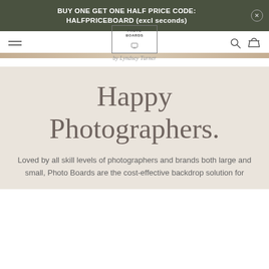BUY ONE GET ONE HALF PRICE CODE: HALFPRICEBOARD (excl seconds)
[Figure (logo): Photo Boards logo — a square border with 'PHOTO BOARDS' text inside and a small camera/tripod icon, with cursive 'by Lyndsey Turner' below]
Happy Photographers.
Loved by all skill levels of photographers and brands both large and small, Photo Boards are the cost-effective backdrop solution for